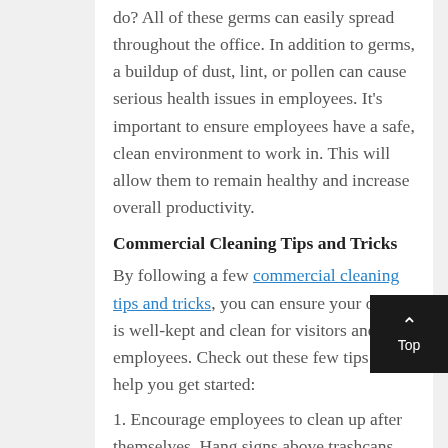do? All of these germs can easily spread throughout the office. In addition to germs, a buildup of dust, lint, or pollen can cause serious health issues in employees. It's important to ensure employees have a safe, clean environment to work in. This will allow them to remain healthy and increase overall productivity.
Commercial Cleaning Tips and Tricks
By following a few commercial cleaning tips and tricks, you can ensure your office is well-kept and clean for visitors and employees. Check out these few tips to help you get started:
1. Encourage employees to clean up after themselves. Hang signs above trashcans and the sink to remind employees to wash